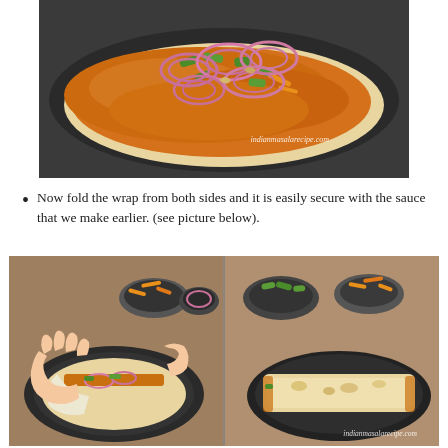[Figure (photo): A flatbread/wrap topped with orange masala sauce, green capsicum slices, and red onion rings on a dark plate. Watermark: indianmasalarecipe.com]
Now fold the wrap from both sides and it is easily secure with the sauce that we make earlier. (see picture below).
[Figure (photo): Two side-by-side images: left shows hands folding a wrap with fillings visible (onion, sauce, greens) on a dark plate, with bowls of toppings in background; right shows the finished rolled wrap on a dark plate with bowls of toppings. Watermark: indianmasalarecipe.com]